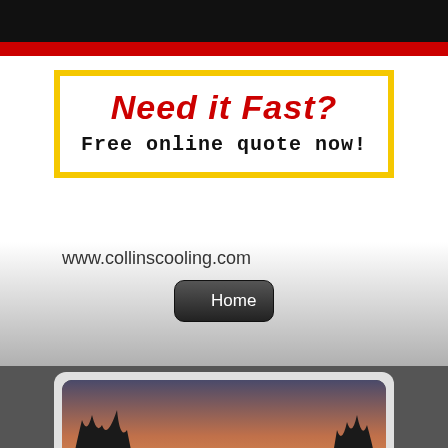[Figure (screenshot): Website screenshot of collinscooling.com showing a mobile web page with a black top bar, red accent bar, a yellow-bordered banner reading 'Need it Fast? Free online quote now!', the URL www.collinscooling.com, a Home button, and a landscape sunset photo at the bottom.]
Need it Fast?
Free online quote now!
www.collinscooling.com
Home
[Figure (photo): Landscape photo of a river or lake at sunset/dusk, with silhouetted bare trees on sides, orange-pink sky, and water reflection below.]